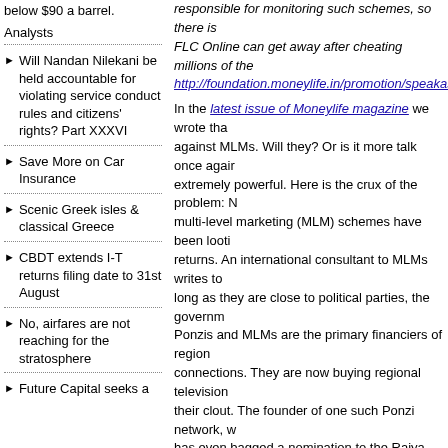below $90 a barrel.
Analysts
Will Nandan Nilekani be held accountable for violating service conduct rules and citizens' rights? Part XXXVI
Save More on Car Insurance
Scenic Greek isles & classical Greece
CBDT extends I-T returns filing date to 31st August
No, airfares are not reaching for the stratosphere
Future Capital seeks a
responsible for monitoring such schemes, so there is FLC Online can get away after cheating millions of the http://foundation.moneylife.in/promotion/speakasia/ind
In the latest issue of Moneylife magazine we wrote that against MLMs. Will they? Or is it more talk once again extremely powerful. Here is the crux of the problem: M multi-level marketing (MLM) schemes have been looting returns. An international consultant to MLMs writes to long as they are close to political parties, the governm Ponzis and MLMs are the primary financiers of region connections. They are now buying regional television their clout. The founder of one such Ponzi network, w has even bagged a nomination to the Rajya Sabha.
While the EOW has arrested the promoters of Stockg egulatory failure of various agencies, primarily SEBI, a case against these two callous regulators?
[Figure (other): Social sharing bar with SHARE button and social media icons]